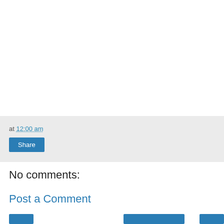at 12:00 am
Share
No comments:
Post a Comment